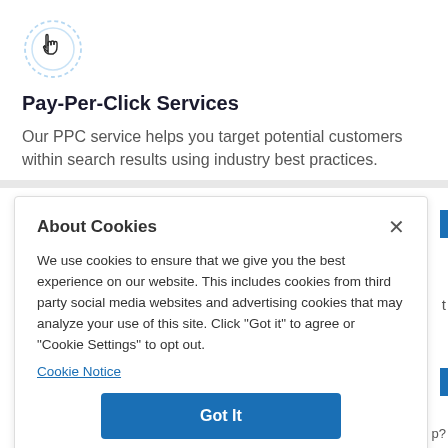[Figure (illustration): Hand pointer / click icon with circular ripple rings, drawn in blue outline style]
Pay-Per-Click Services
Our PPC service helps you target potential customers within search results using industry best practices.
About Cookies
We use cookies to ensure that we give you the best experience on our website. This includes cookies from third party social media websites and advertising cookies that may analyze your use of this site. Click "Got it" to agree or "Cookie Settings" to opt out.
Cookie Notice
Got It
Cookies Settings